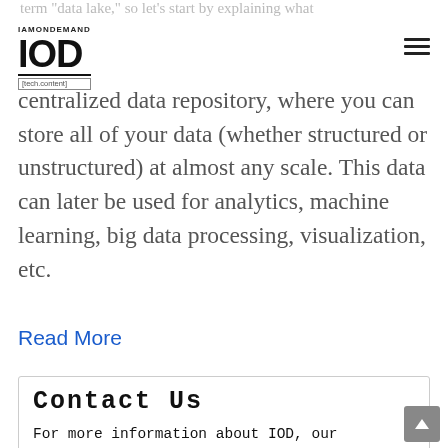IAMONDEMAND IOD [tech.content]
It... data lake represents a kind of centralized data repository, where you can store all of your data (whether structured or unstructured) at almost any scale. This data can later be used for analytics, machine learning, big data processing, visualization, etc.
Read More
Contact Us
For more information about IOD, our services, or opportunities to write for us, drop us a line below.